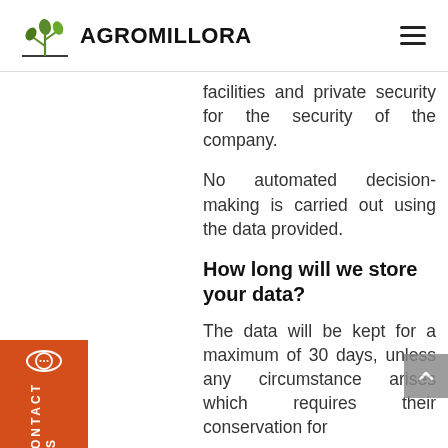AGROMILLORA
facilities and private security for the security of the company.
No automated decision-making is carried out using the data provided.
How long will we store your data?
The data will be kept for a maximum of 30 days, unless any circumstance arises which requires their conservation for